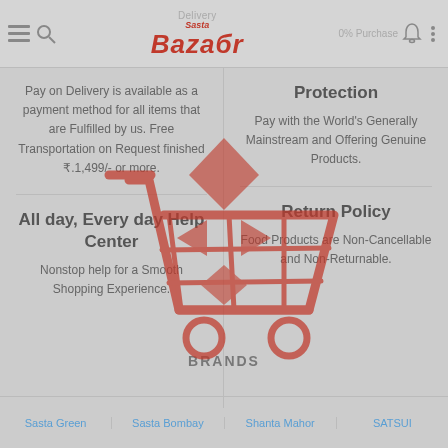Delivery | SastaBazar | 0% Purchase
Pay on Delivery is available as a payment method for all items that are Fulfilled by us. Free Transportation on Request finished ₹.1,499/- or more.
Protection
Pay with the World's Generally Mainstream and Offering Genuine Products.
[Figure (illustration): Red shopping cart icon with diamond/gift shapes inside, overlaid in center of page]
All day, Every day Help Center
Nonstop help for a Smooth Shopping Experience.
Return Policy
Food Products are Non-Cancellable and Non-Returnable.
BRANDS
Sasta Green | Sasta Bombay | Shanta Mahor | SATSUI